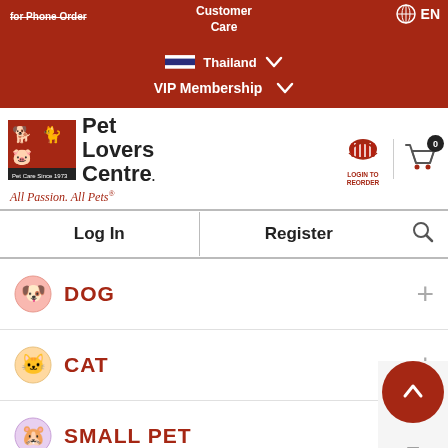for Phone Order | Customer Care | Thailand | EN | VIP Membership
[Figure (logo): Pet Lovers Centre logo with pet icons and tagline 'All Passion. All Pets']
[Figure (infographic): Login to Reorder basket icon and shopping cart with badge 0]
Log In | Register
DOG
CAT
SMALL PET